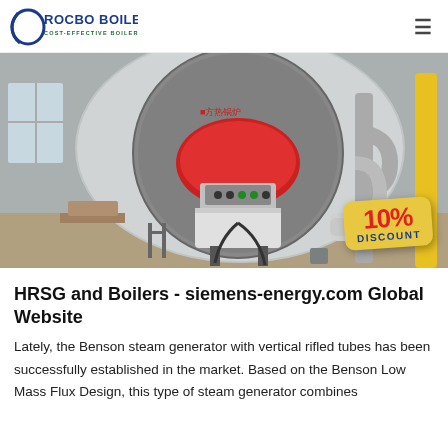ROCBO BOILER — COST-EFFECTIVE BOILER SUPPLIER
[Figure (photo): Industrial boiler in a factory setting with a large cylindrical vessel, red burner unit, piping and a 10% DISCOUNT badge overlay in the lower right corner.]
HRSG and Boilers - siemens-energy.com Global Website
Lately, the Benson steam generator with vertical rifled tubes has been successfully established in the market. Based on the Benson Low Mass Flux Design, this type of steam generator combines